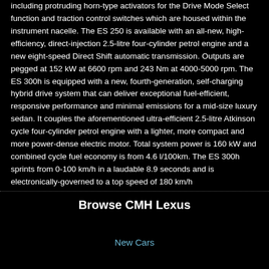including protruding horn-type activators for the Drive Mode Select function and traction control switches which are housed within the instrument nacelle. The ES 250 is available with an all-new, high-efficiency, direct-injection 2.5-litre four-cylinder petrol engine and a new eight-speed Direct Shift automatic transmission. Outputs are pegged at 152 kW at 6600 rpm and 243 Nm at 4000-5000 rpm. The ES 300h is equipped with a new, fourth-generation, self-charging hybrid drive system that can deliver exceptional fuel-efficient, responsive performance and minimal emissions for a mid-size luxury sedan. It couples the aforementioned ultra-efficient 2.5-litre Atkinson cycle four-cylinder petrol engine with a lighter, more compact and more power-dense electric motor. Total system power is 160 kW and combined cycle fuel economy is from 4.6 l/100km. The ES 300h sprints from 0-100 km/h in a laudable 8.9 seconds and is electronically-governed to a top speed of 180 km/h
Browse CMH Lexus
New Cars